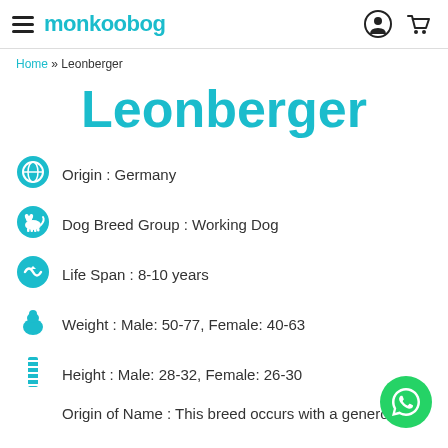monkoodog
Home » Leonberger
Leonberger
Origin : Germany
Dog Breed Group : Working Dog
Life Span : 8-10 years
Weight : Male: 50-77, Female: 40-63
Height : Male: 28-32, Female: 26-30
Origin of Name : This breed occurs with a generous